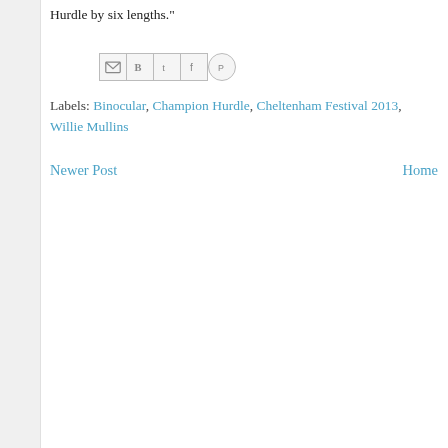Hurdle by six lengths."
[Figure (other): Social sharing buttons: Email (M), Blogger (B), Twitter (t), Facebook (f), Pinterest (circle with P)]
Labels: Binocular, Champion Hurdle, Cheltenham Festival 2013, Willie Mullins
Newer Post    Home